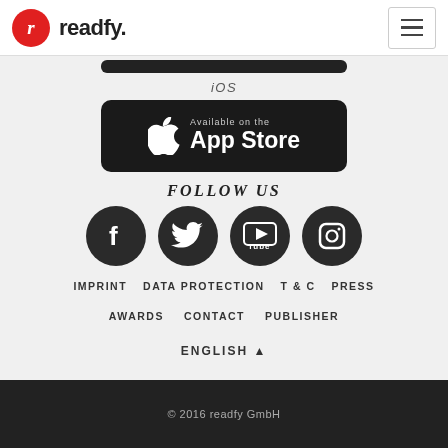readfy.
[Figure (screenshot): App Store download button stub at top]
iOS
[Figure (logo): Available on the App Store button (black rounded rectangle with Apple logo)]
FOLLOW US
[Figure (infographic): Social media icons: Facebook, Twitter, YouTube, Instagram — dark circles]
IMPRINT   DATA PROTECTION   T & C   PRESS
AWARDS   CONTACT   PUBLISHER
ENGLISH ▲
© 2016 readfy GmbH